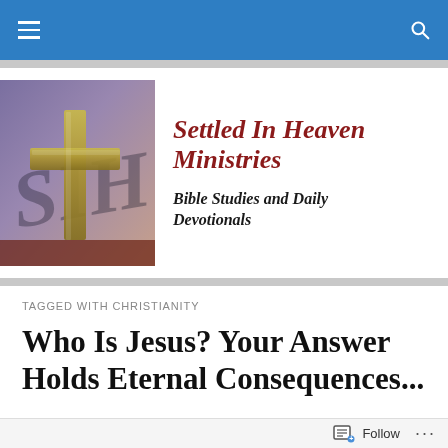Navigation bar with hamburger menu and search icon
[Figure (logo): Settled In Heaven Ministries logo: painting of a golden cross with 'SIH' text in the background on a purple/blue canvas]
Settled In Heaven Ministries
Bible Studies and Daily Devotionals
TAGGED WITH CHRISTIANITY
Who Is Jesus? Your Answer Holds Eternal Consequences...
[Figure (photo): Partial view of an article image at the bottom of the page]
Follow ...